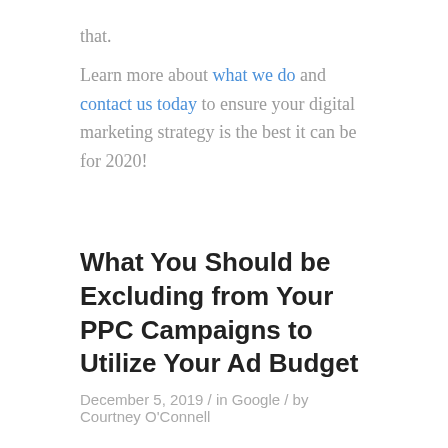that.
Learn more about what we do and contact us today to ensure your digital marketing strategy is the best it can be for 2020!
What You Should be Excluding from Your PPC Campaigns to Utilize Your Ad Budget
December 5, 2019 / in Google / by Courtney O'Connell
When building PPC campaigns, marketers usually focus on what should be included in targeting attributions. However, campaign exclusions are equally as important. Negative audiences, keywords, and other exclusions help to reduce wasted spend ensure people